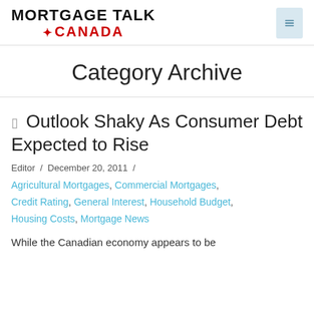MORTGAGE TALK CANADA
Category Archive
Outlook Shaky As Consumer Debt Expected to Rise
Editor / December 20, 2011 /
Agricultural Mortgages, Commercial Mortgages, Credit Rating, General Interest, Household Budget, Housing Costs, Mortgage News
While the Canadian economy appears to be